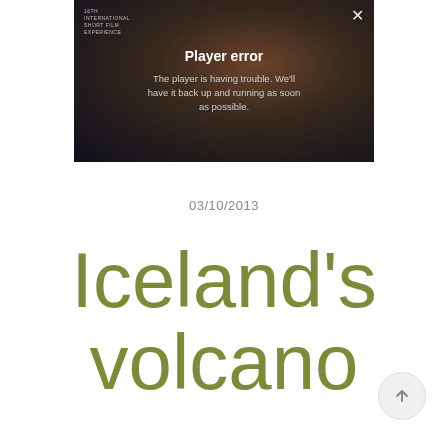[Figure (screenshot): A video player showing a 'Player error' message. The background is a dark cinematic scene. A close button (×) is at the top right. A small logo reading '16TH INTERNATIONAL SHORT FILM EXPERIENCE' is at the top left. The error overlay reads 'Player error' in bold white, and below: 'The player is having trouble. We'll have it back up and running as soon as possible.']
03/10/2013
Iceland's volcano